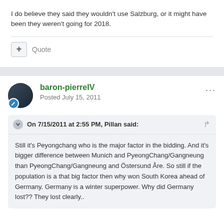I do believe they said they wouldn't use Salzburg, or it might have been they weren't going for 2018.
baron-pierreIV
Posted July 15, 2011
On 7/15/2011 at 2:55 PM, Pillan said:
Still it's Peyongchang who is the major factor in the bidding. And it's bigger difference between Munich and PyeongChang/Gangneung than PyeongChang/Gangneung and Östersund Åre. So still if the population is a that big factor then why won South Korea ahead of Germany. Germany is a winter superpower. Why did Germany lost?? They lost clearly..